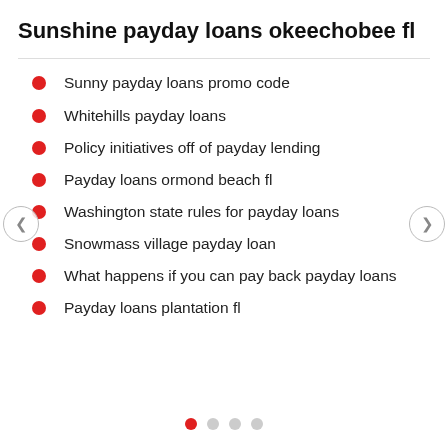Sunshine payday loans okeechobee fl
Sunny payday loans promo code
Whitehills payday loans
Policy initiatives off of payday lending
Payday loans ormond beach fl
Washington state rules for payday loans
Snowmass village payday loan
What happens if you can pay back payday loans
Payday loans plantation fl